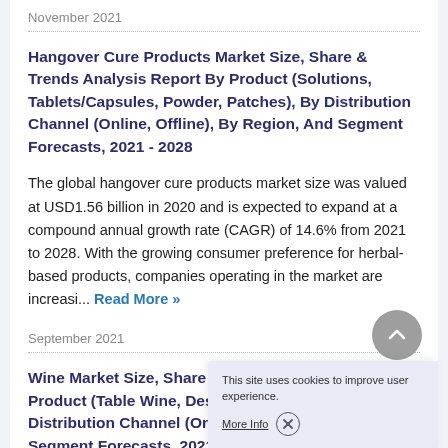November 2021
Hangover Cure Products Market Size, Share & Trends Analysis Report By Product (Solutions, Tablets/Capsules, Powder, Patches), By Distribution Channel (Online, Offline), By Region, And Segment Forecasts, 2021 - 2028
The global hangover cure products market size was valued at USD1.56 billion in 2020 and is expected to expand at a compound annual growth rate (CAGR) of 14.6% from 2021 to 2028. With the growing consumer preference for herbal-based products, companies operating in the market are increasi... Read More »
September 2021
Wine Market Size, Share & T... Product (Table Wine, Desse... Distribution Channel (On-tra... Segment Forecasts, 2021 - 2028